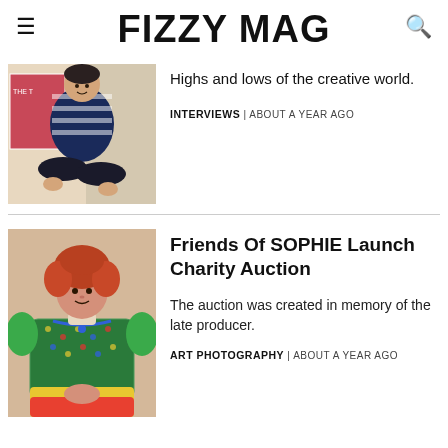FIZZY MAG
[Figure (photo): Person sitting cross-legged in front of colorful magazine covers, wearing a striped navy and white sweater]
Highs and lows of the creative world.
INTERVIEWS | ABOUT A YEAR AGO
Friends Of SOPHIE Launch Charity Auction
[Figure (photo): Young person with curly red hair wearing a green embroidered top with puffed sleeves and colorful accessories]
The auction was created in memory of the late producer.
ART PHOTOGRAPHY | ABOUT A YEAR AGO